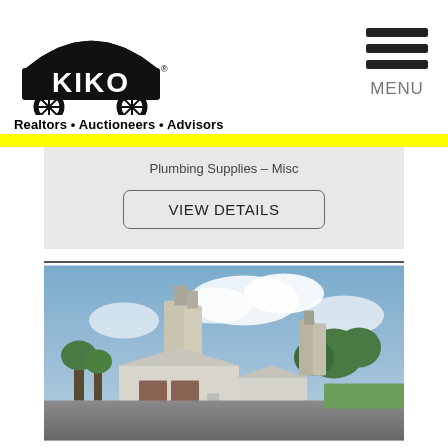[Figure (logo): KIKO Realtors Auctioneers Advisors logo with covered wagon icon]
Realtors • Auctioneers • Advisors
[Figure (other): Hamburger menu icon with three horizontal bars and MENU label]
Plumbing Supplies – Misc
VIEW DETAILS
[Figure (photo): Aerial/ground-level photograph of an industrial property with grain silos, a large metal building with garage doors, and paved lot under cloudy sky]